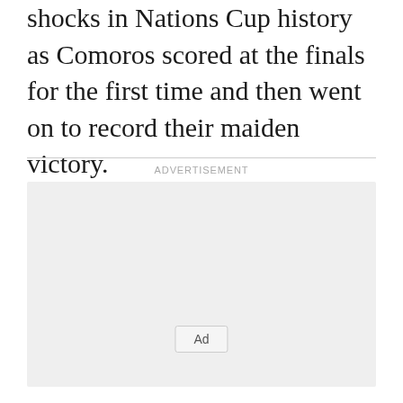shocks in Nations Cup history as Comoros scored at the finals for the first time and then went on to record their maiden victory.
[Figure (other): Advertisement placeholder box with 'Ad' button label]